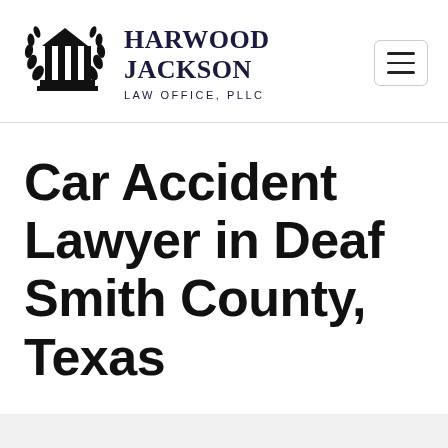HARWOOD JACKSON LAW OFFICE, PLLC
Car Accident Lawyer in Deaf Smith County, Texas
A number of experiences make the mix of anxiety, confusion, and stress that outcomes from a car accident. So much occurs at the